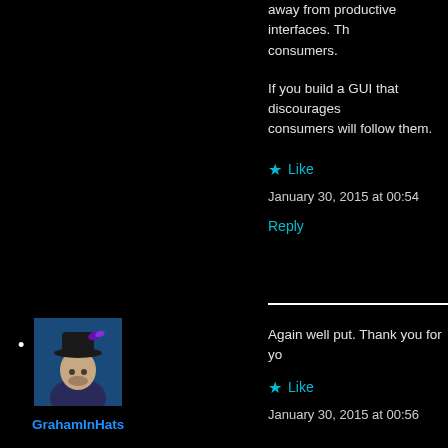away from productive interfaces. Th… consumers.
If you build a GUI that discourages… consumers will follow them.
Like
January 30, 2015 at 00:54
Reply
[Figure (photo): Profile photo of GrahamInHats: an older man wearing a black hat with a small butterfly logo, blue background]
GrahamInHats
Again well put. Thank you for yo…
Like
January 30, 2015 at 00:56